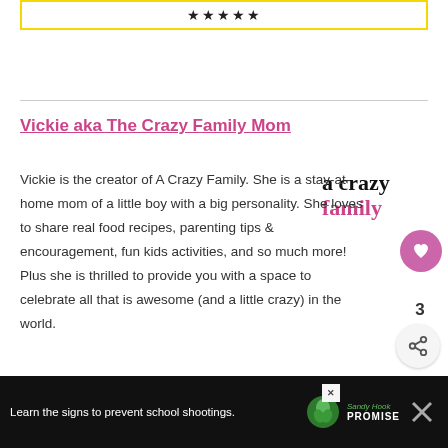[Figure (other): Yellow-bordered box with star rating symbols at the top of the page]
Vickie aka The Crazy Family Mom
Vickie is the creator of A Crazy Family. She is a stay-at-home mom of a little boy with a big personality. She loves to share real food recipes, parenting tips & encouragement, fun kids activities, and so much more! Plus she is thrilled to provide you with a space to celebrate all that is awesome (and a little crazy) in the world.
[Figure (logo): A Crazy Family logo with pink heart icon]
[Figure (other): Share button with count of 3]
[Figure (other): What's Next widget showing Best-Ever Cherry Muffins with thumbnail image]
[Figure (other): Sandy Hook Promise advertisement bar at bottom: Learn the signs to prevent school shootings]